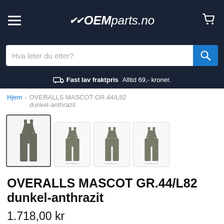OEMparts.no
Hva leter du etter?
Fast lav fraktpris Alltid 69,- kroner.
Hjem > OVERALLS MASCOT GR.44/L82 dunkel-anthrazit
[Figure (photo): Four thumbnail images of dark anthracite bib overalls/dungarees, shown from the front. The first thumbnail has a bold border indicating it is selected.]
OVERALLS MASCOT GR.44/L82 dunkel-anthrazit
1.718,00 kr
inkl. 25% MVA